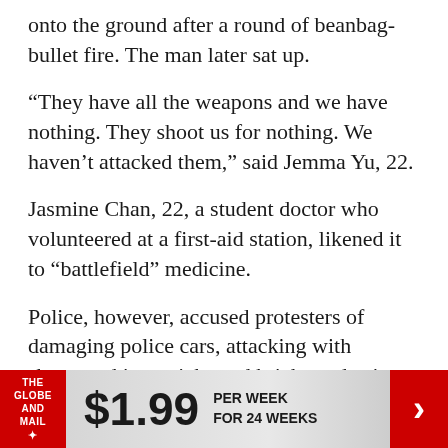onto the ground after a round of beanbag-bullet fire. The man later sat up.
“They have all the weapons and we have nothing. They shoot us for nothing. We haven’t attacked them,” said Jemma Yu, 22.
Jasmine Chan, 22, a student doctor who volunteered at a first-aid station, likened it to “battlefield” medicine.
Police, however, accused protesters of damaging police cars, attacking with sharpened iron sticks and bricks and using “violent measures to storm the Legislative Council complex.”
[Figure (other): Advertisement banner for The Globe and Mail offering $1.99 per week for 24 weeks, with red logo on left and red arrow button on right.]